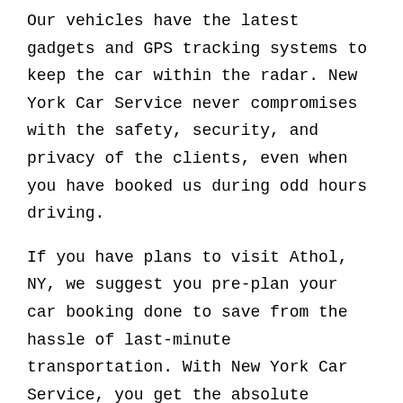Our vehicles have the latest gadgets and GPS tracking systems to keep the car within the radar. New York Car Service never compromises with the safety, security, and privacy of the clients, even when you have booked us during odd hours driving.
If you have plans to visit Athol, NY, we suggest you pre-plan your car booking done to save from the hassle of last-minute transportation. With New York Car Service, you get the absolute luxury, comfortable, and stress-free ride. The Car Service New York provides the most reliable and prompts chauffeur-driven fascinating car rental service on the streets of Athol, NY.